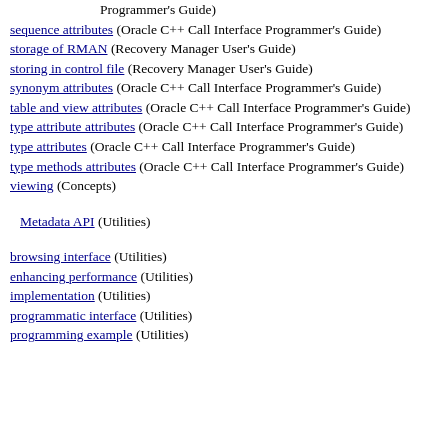Programmer's Guide)
sequence attributes (Oracle C++ Call Interface Programmer's Guide)
storage of RMAN (Recovery Manager User's Guide)
storing in control file (Recovery Manager User's Guide)
synonym attributes (Oracle C++ Call Interface Programmer's Guide)
table and view attributes (Oracle C++ Call Interface Programmer's Guide)
type attribute attributes (Oracle C++ Call Interface Programmer's Guide)
type attributes (Oracle C++ Call Interface Programmer's Guide)
type methods attributes (Oracle C++ Call Interface Programmer's Guide)
viewing (Concepts)
Metadata API (Utilities)
browsing interface (Utilities)
enhancing performance (Utilities)
implementation (Utilities)
programmatic interface (Utilities)
programming example (Utilities)